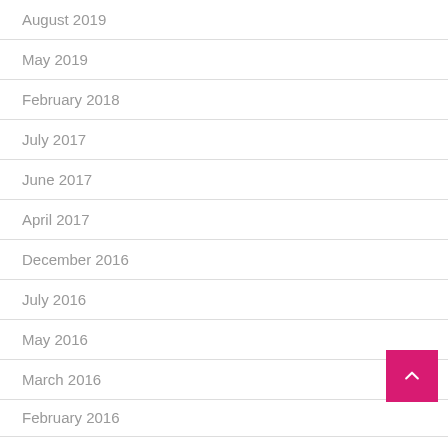August 2019
May 2019
February 2018
July 2017
June 2017
April 2017
December 2016
July 2016
May 2016
March 2016
February 2016